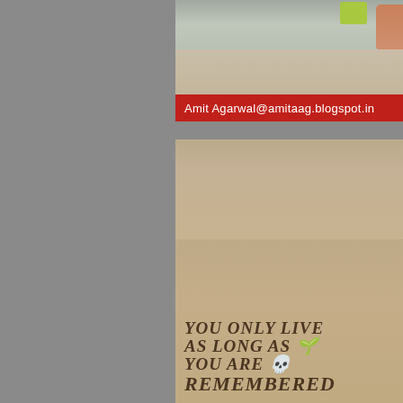[Figure (photo): Top photo showing vehicles/street scene with a red banner overlay at the bottom reading 'Amit Agarwal@amitaag.blogspot.in' in white text]
[Figure (photo): Sepia-toned photo of a courtyard or open ground with text written on the dirt/sand surface: 'YOU ONLY LIVE AS LONG AS YOU ARE REMEMBERED' with small illustrations. Background shows architectural structures and trees.]
YOU ONLY LIVE AS LONG AS YOU ARE REMEMBERED